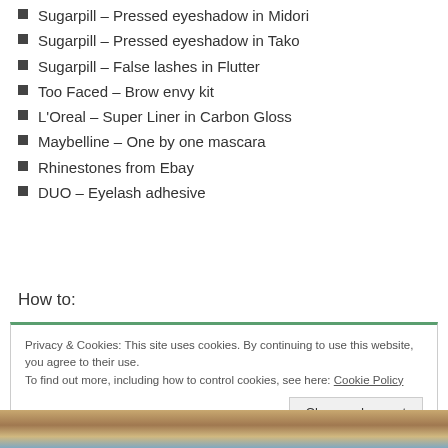Sugarpill – Pressed eyeshadow in Midori
Sugarpill – Pressed eyeshadow in Tako
Sugarpill – False lashes in Flutter
Too Faced – Brow envy kit
L'Oreal – Super Liner in Carbon Gloss
Maybelline – One by one mascara
Rhinestones from Ebay
DUO – Eyelash adhesive
How to:
Privacy & Cookies: This site uses cookies. By continuing to use this website, you agree to their use. To find out more, including how to control cookies, see here: Cookie Policy
[Figure (photo): Bottom strip showing a close-up photo of colorful eye makeup]